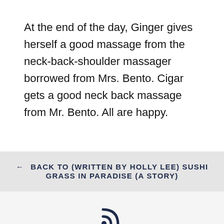At the end of the day, Ginger gives herself a good massage from the neck-back-shoulder massager borrowed from Mrs. Bento. Cigar gets a good neck back massage from Mr. Bento. All are happy.
← BACK TO (WRITTEN BY HOLLY LEE) SUSHI GRASS IN PARADISE (A STORY)
[Figure (other): RSS feed icon]
© 2022, Ocean Pounds    OCEAN POUNDS Online Shop, DOUBLE DOUBLE, MONDAY ARTPOST and Columns are under the management of Ocean and Pounds. Contact us